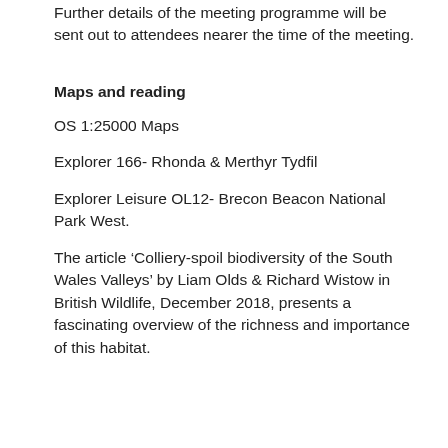Further details of the meeting programme will be sent out to attendees nearer the time of the meeting.
Maps and reading
OS 1:25000 Maps
Explorer 166- Rhonda & Merthyr Tydfil
Explorer Leisure OL12- Brecon Beacon National Park West.
The article ‘Colliery-spoil biodiversity of the South Wales Valleys’ by Liam Olds & Richard Wistow in British Wildlife, December 2018, presents a fascinating overview of the richness and importance of this habitat.